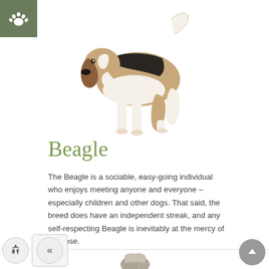[Figure (illustration): Paw print icon in a dark olive/green square, top left corner]
[Figure (photo): Side profile photo of a Beagle dog standing, showing tricolor coat of brown, black and white]
Beagle
The Beagle is a sociable, easy-going individual who enjoys meeting anyone and everyone – especially children and other dogs. That said, the breed does have an independent streak, and any self-respecting Beagle is inevitably at the mercy of his nose.
[Figure (photo): Partial photo of another long-haired dog visible at the bottom of the page]
[Figure (illustration): Navigation UI elements: accessibility icon button, back arrow button, and a scroll-to-top circular button on the right]